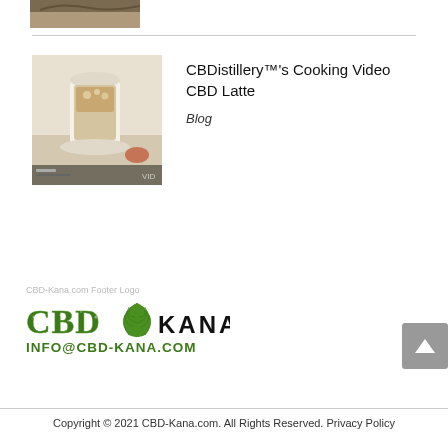[Figure (photo): Partial view of food/banana image at top of page, cropped]
[Figure (photo): Thumbnail image of a CBD latte drink in a cup, cooking video thumbnail with playback overlay]
CBDistillery™'s Cooking Video CBD Latte
Blog
[Figure (logo): CBD Kana footer logo with green cannabis leaf and stylized text, showing alt text 'CBD-Kana.com Footer Logo']
INFO@CBD-KANA.COM
Copyright © 2021 CBD-Kana.com. All Rights Reserved. Privacy Policy